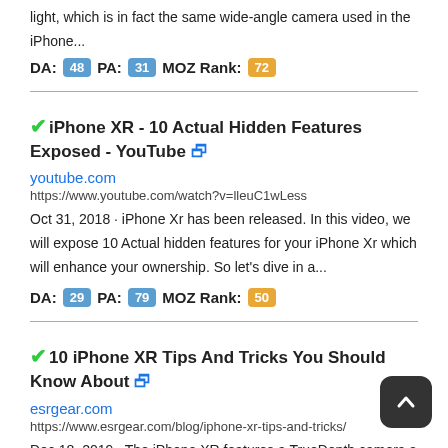light, which is in fact the same wide-angle camera used in the iPhone...
DA: 48  PA: 31  MOZ Rank: 72
✔iPhone XR - 10 Actual Hidden Features Exposed - YouTube 🔗
youtube.com
https://www.youtube.com/watch?v=lleuC1wLess
Oct 31, 2018 · iPhone Xr has been released. In this video, we will expose 10 Actual hidden features for your iPhone Xr which will enhance your ownership. So let's dive in a...
DA: 29  PA: 79  MOZ Rank: 50
✔10 iPhone XR Tips And Tricks You Should Know About 🔗
esrgear.com
https://www.esrgear.com/blog/iphone-xr-tips-and-tricks/
Dec 18, 2019 · The iPhone XR features a TrueDepth camera system with which you can take selfies with depth effect. With the camera